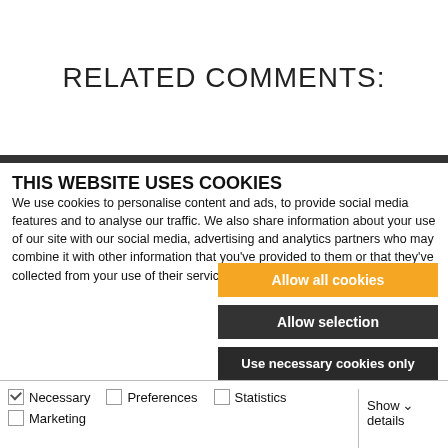RELATED COMMENTS:
THIS WEBSITE USES COOKIES
We use cookies to personalise content and ads, to provide social media features and to analyse our traffic. We also share information about your use of our site with our social media, advertising and analytics partners who may combine it with other information that you've provided to them or that they've collected from your use of their services.
Allow all cookies
Allow selection
Use necessary cookies only
Necessary  Preferences  Statistics  Marketing  Show details